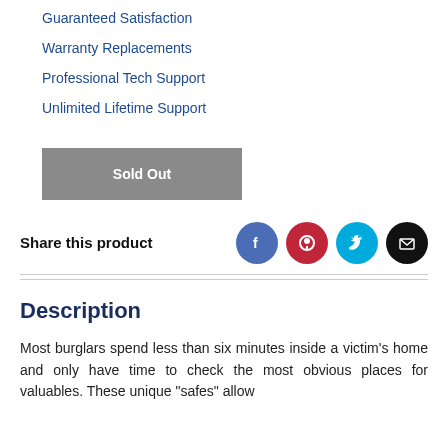Guaranteed Satisfaction
Warranty Replacements
Professional Tech Support
Unlimited Lifetime Support
Sold Out
Share this product
Description
Most burglars spend less than six minutes inside a victim's home and only have time to check the most obvious places for valuables. These unique "safes" allow